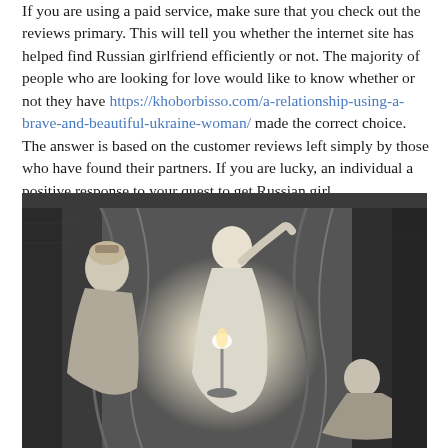If you are using a paid service, make sure that you check out the reviews primary. This will tell you whether the internet site has helped find Russian girlfriend efficiently or not. The majority of people who are looking for love would like to know whether or not they have https://khoborbisso.com/a-relationship-using-a-brave-and-beautiful-ukraine-woman/ made the correct choice. The answer is based on the customer reviews left simply by those who have found their partners. If you are lucky, an individual a positive response to your quest to get Russian girl.
[Figure (illustration): A black and white engraving-style illustration depicting classical/mythological figures in robes. A standing woman in flowing white robes holds up a lamp or torch, illuminating a scene with draped curtains. A seated woman with ornate headwear is visible on the left, and a reclining figure is on the right.]